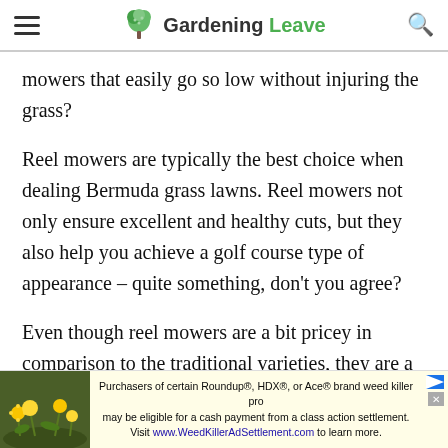Gardening Leave
mowers that easily go so low without injuring the grass?
Reel mowers are typically the best choice when dealing Bermuda grass lawns. Reel mowers not only ensure excellent and healthy cuts, but they also help you achieve a golf course type of appearance – quite something, don't you agree?
Even though reel mowers are a bit pricey in comparison to the traditional varieties, they are a worthy investment – the results literally speak for
[Figure (other): Advertisement banner: Purchasers of certain Roundup®, HDX®, or Ace® brand weed killer products may be eligible for a cash payment from a class action settlement. Visit www.WeedKillerAdSettlement.com to learn more.]